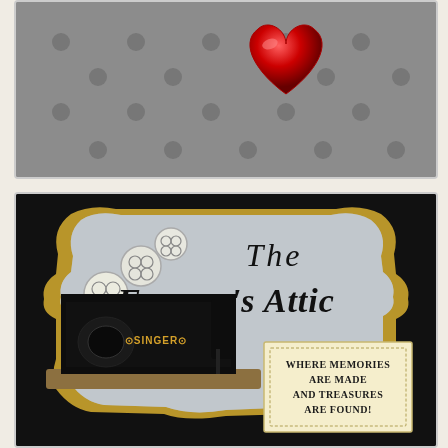[Figure (illustration): Gray polka-dot background with a large red 3D heart emoji centered near the top]
[Figure (logo): The Farmer's Attic logo: vintage ornate sign with white buttons, black Singer sewing machine, script/serif typography reading 'The Farmer's Attic', and a note card reading 'Where Memories Are Made And Treasures Are Found!' on black background]